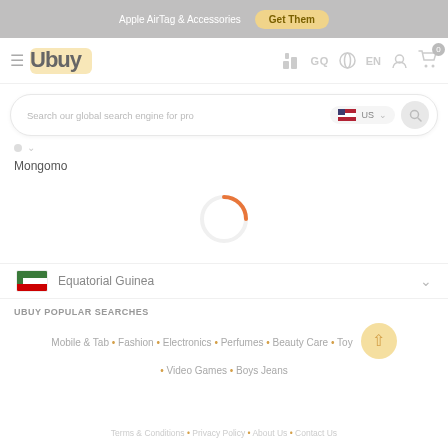Apple AirTag & Accessories  Get Them
[Figure (screenshot): Ubuy e-commerce website header with logo, navigation icons, search bar, country selector showing Equatorial Guinea, loading spinner, popular searches section, and footer links]
Mongomo
Equatorial Guinea
UBUY POPULAR SEARCHES
Mobile & Tab • Fashion • Electronics • Perfumes • Beauty Care • Toys • Video Games • Boys Jeans
Terms & Conditions • Privacy Policy • About Us • Contact Us